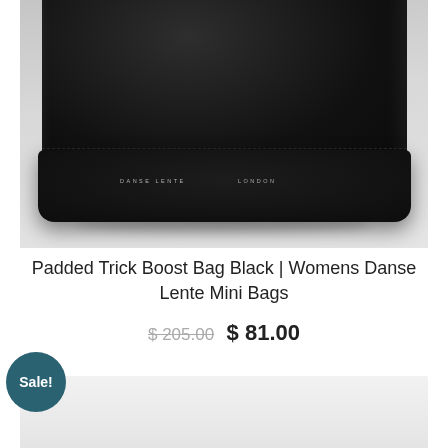[Figure (photo): Black padded leather mini bag (Danse Lente) on a light gray background, showing the front lower half of the bag with 'DANSE LENTE' and 'LONDON' text embossed in small white letters]
Padded Trick Boost Bag Black | Womens Danse Lente Mini Bags
$ 205.00  $ 81.00
[Figure (photo): Bottom portion of a second product image, light gray background, partially visible]